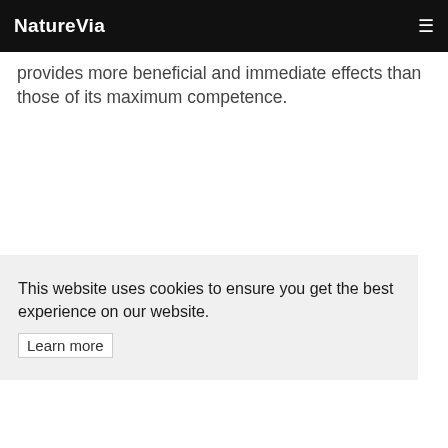NatureVia
provides more beneficial and immediate effects than those of its maximum competence.
This website uses cookies to ensure you get the best experience on our website.
Learn more